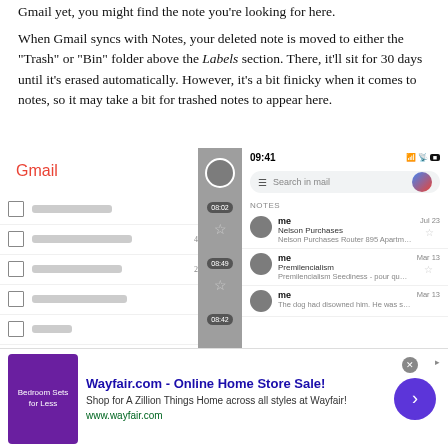Gmail yet, you might find the note you're looking for here.
When Gmail syncs with Notes, your deleted note is moved to either the "Trash" or "Bin" folder above the Labels section. There, it'll sit for 30 days until it's erased automatically. However, it's a bit finicky when it comes to notes, so it may take a bit for trashed notes to appear here.
[Figure (screenshot): Screenshot showing Gmail app side-by-side view: left panel shows Gmail inbox list with blurred email rows, center shows a gray navigation bar with timestamps 08:02, 08:49, 08:42, right panel shows Gmail on iPhone with status bar 09:41, search bar, NOTES section with three note rows from 'me': Nelson Purchases, Premilencialism, and a third note about a dog.]
[Figure (infographic): Wayfair advertisement banner: purple image thumbnail with 'Bedroom Sets for Less' text, bold blue title 'Wayfair.com - Online Home Store Sale!', description 'Shop for A Zillion Things Home across all styles at Wayfair!', green URL 'www.wayfair.com', close button X, and purple circular arrow button on right.]